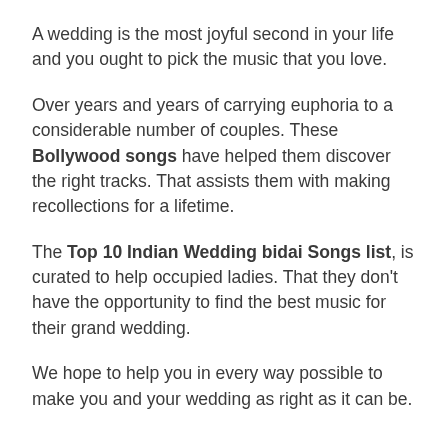A wedding is the most joyful second in your life and you ought to pick the music that you love.
Over years and years of carrying euphoria to a considerable number of couples. These Bollywood songs have helped them discover the right tracks. That assists them with making recollections for a lifetime.
The Top 10 Indian Wedding bidai Songs list, is curated to help occupied ladies. That they don't have the opportunity to find the best music for their grand wedding.
We hope to help you in every way possible to make you and your wedding as right as it can be.